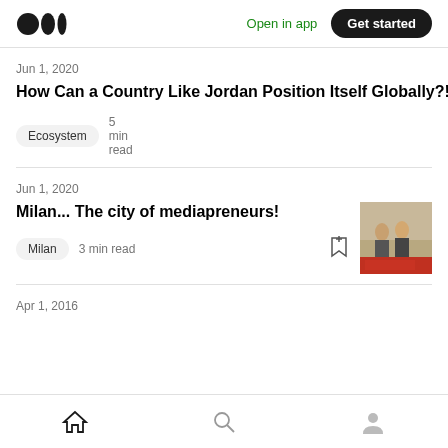Medium logo | Open in app | Get started
Jun 1, 2020
How Can a Country Like Jordan Position Itself Globally?!
Ecosystem  5 min read
Jun 1, 2020
Milan... The city of mediapreneurs!
Milan  3 min read
Apr 1, 2016
Home | Search | Profile